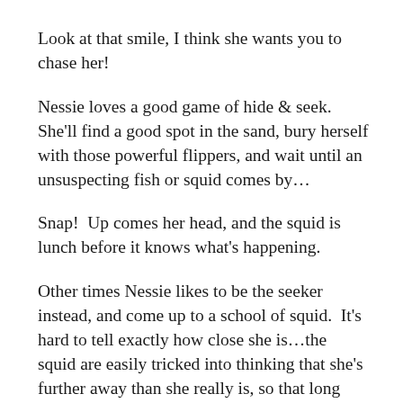Look at that smile, I think she wants you to chase her!
Nessie loves a good game of hide & seek.  She'll find a good spot in the sand, bury herself with those powerful flippers, and wait until an unsuspecting fish or squid comes by…
Snap!  Up comes her head, and the squid is lunch before it knows what's happening.
Other times Nessie likes to be the seeker instead, and come up to a school of squid.  It's hard to tell exactly how close she is…the squid are easily tricked into thinking that she's further away than she really is, so that long neck of hers can